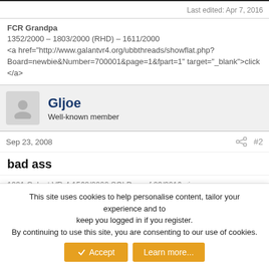Last edited: Apr 7, 2016
FCR Grandpa
1352/2000 – 1803/2000 (RHD) – 1611/2000
<a href="http://www.galantvr4.org/ubbthreads/showflat.php?Board=newbie&Number=700001&page=1&fpart=1" target="_blank">click</a>
Gljoe
Well-known member
Sep 23, 2008
#2
bad ass
1991 Galant VR-4 1562/2000 SOLD as of 03/2016 <img src="/ubbthreads/images/graemlins/frown.gif" alt="" />
1998 Subaru Forester
This site uses cookies to help personalise content, tailor your experience and to keep you logged in if you register.
By continuing to use this site, you are consenting to our use of cookies.